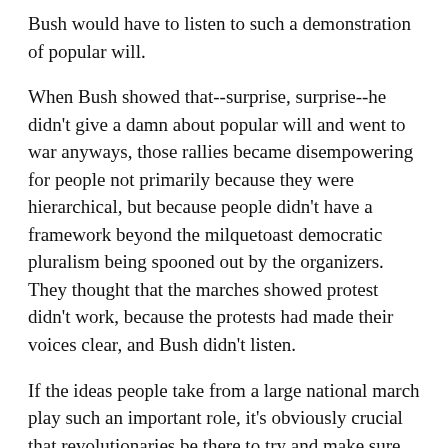Bush would have to listen to such a demonstration of popular will.
When Bush showed that--surprise, surprise--he didn't give a damn about popular will and went to war anyways, those rallies became disempowering for people not primarily because they were hierarchical, but because people didn't have a framework beyond the milquetoast democratic pluralism being spooned out by the organizers. They thought that the marches showed protest didn't work, because the protests had made their voices clear, and Bush didn't listen.
If the ideas people take from a large national march play such an important role, it's obviously crucial that revolutionaries be there to try and make sure as many people as possible come away from the march with the ideas that are going to prepare them for further struggle.
Indeed, this is why M.B.'s question of whether we